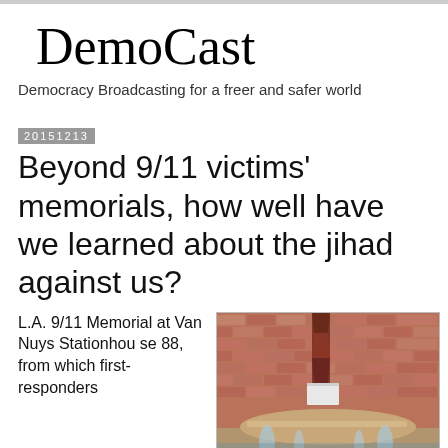DemoCast
Democracy Broadcasting for a freer and safer world
20151213
Beyond 9/11 victims' memorials, how well have we learned about the jihad against us?
L.A. 9/11 Memorial at Van Nuys Stationhouse 88, from which first-responders
[Figure (photo): LAFD 9/11 Memorial at Van Nuys Stationhouse 88, showing a brick wall with a twisted metal beam from the WTC mounted vertically, a white pedestal block in front, and a curved stone water fountain basin with water flowing from spouts at the base.]
LAFD Memorial contains remnants of WTC and Pentagon